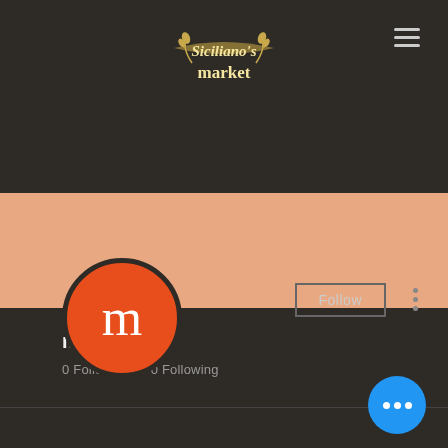[Figure (logo): Siciliano's Market logo in gold/cream on dark background with wheat decorations]
[Figure (photo): User profile page for mark topen with orange avatar circle showing letter m, salmon/peach banner background, Follow button, three-dots menu, and blue chat button]
mark topen
0 Followers • 0 Following